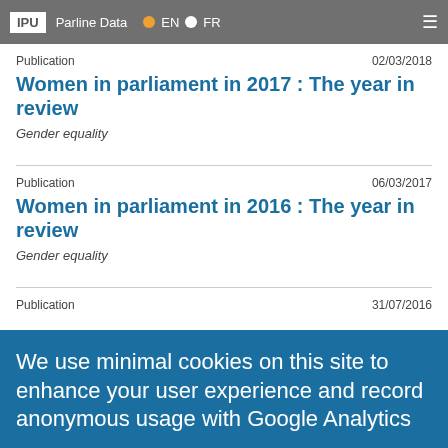IPU | Parline Data | EN | FR
Publication    02/03/2018
Women in parliament in 2017 : The year in review
Gender equality
Publication    06/03/2017
Women in parliament in 2016 : The year in review
Gender equality
Publication    31/07/2016
We use minimal cookies on this site to enhance your user experience and record anonymous usage with Google Analytics